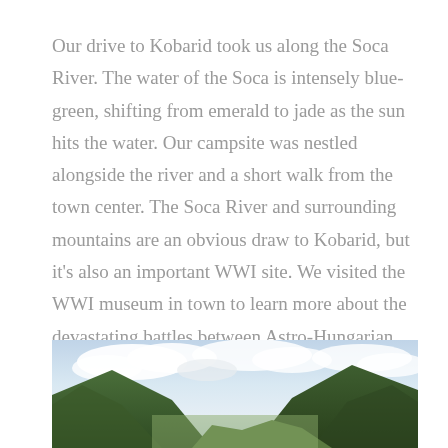Our drive to Kobarid took us along the Soca River. The water of the Soca is intensely blue-green, shifting from emerald to jade as the sun hits the water. Our campsite was nestled alongside the river and a short walk from the town center. The Soca River and surrounding mountains are an obvious draw to Kobarid, but it's also an important WWI site. We visited the WWI museum in town to learn more about the devastating battles between Astro-Hungarian and Italian forces atop the nearby mountains. For nearly three years, these armies battled in trenches along the ridge line until the Astro-Hungarian forces pushed the Italians west (out of current-Day Slovenia).
[Figure (photo): Landscape photo showing mountain silhouettes under a partly cloudy sky, taken near Kobarid, Slovenia along the Soca River valley.]